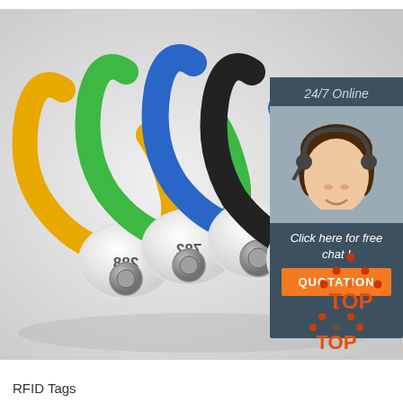[Figure (photo): Four colorful RFID wristbands (yellow, green, blue, black) with embedded RFID chips, numbers 288 and 782 visible on the white discs, arranged in a row against a light gray background. Overlay panel on the right shows a female customer service agent with headset, text '24/7 Online', 'Click here for free chat!', and an orange QUOTATION button. A 'TOP' logo in orange appears bottom right.]
RFID Tags